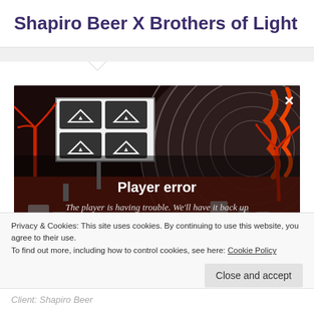Shapiro Beer X Brothers of Light
[Figure (screenshot): Video player error screen showing a 3D animated scene with a dark background, red-tinted environment with stylized objects and palm-like trees. An error overlay reads 'Player error' and 'The player is having trouble. We’ll have it back up and running as soon as possible.' with an X close button in the top right.]
Privacy & Cookies: This site uses cookies. By continuing to use this website, you agree to their use.
To find out more, including how to control cookies, see here: Cookie Policy
Close and accept
Client: Shapiro Beer